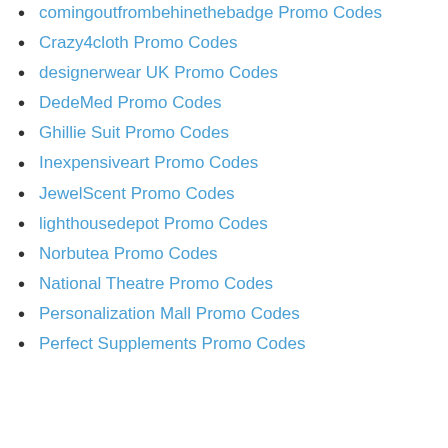comingoutfrombehinethebadge Promo Codes
Crazy4cloth Promo Codes
designerwear UK Promo Codes
DedeMed Promo Codes
Ghillie Suit Promo Codes
Inexpensiveart Promo Codes
JewelScent Promo Codes
lighthousedepot Promo Codes
Norbutea Promo Codes
National Theatre Promo Codes
Personalization Mall Promo Codes
Perfect Supplements Promo Codes